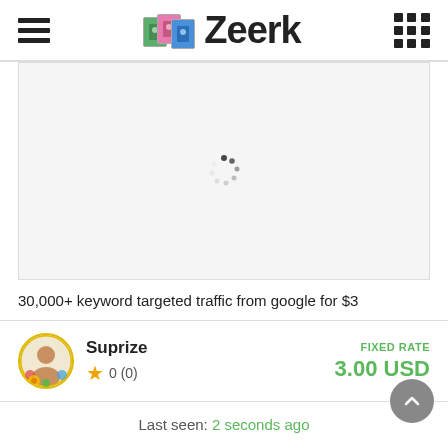Zeerk
[Figure (screenshot): Loading spinner on a light gray background content area]
30,000+ keyword targeted traffic from google for $3
Suprize  ★ 0 (0)  FIXED RATE  3.00 USD
Last seen: 2 seconds ago